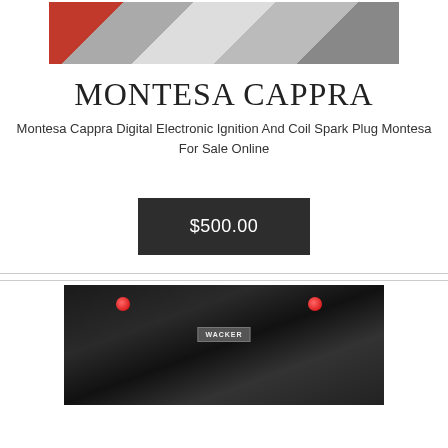[Figure (photo): Photo of Montesa Cappra digital electronic ignition and coil spark plug components laid out on a surface — red coil, round silver/grey ignition parts.]
MONTESA CAPPRA
Montesa Cappra Digital Electronic Ignition And Coil Spark Plug Montesa For Sale Online
$500.00
[Figure (photo): Photo of a motorcycle (Harley-Davidson style) showing saddlebags and rear accessories with red accent lights, dark background.]